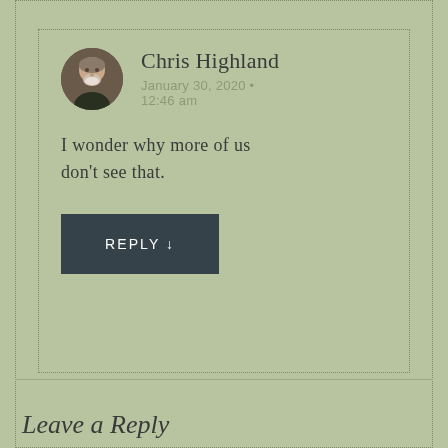Chris Highland
January 30, 2020 • 12:46 am
I wonder why more of us don't see that.
REPLY ↓
Leave a Reply